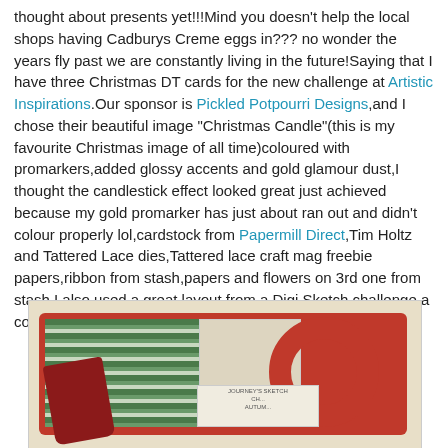thought about presents yet!!!Mind you doesn't help the local shops having Cadburys Creme eggs in??? no wonder the years fly past we are constantly living in the future!Saying that I have three Christmas DT cards for the new challenge at Artistic Inspirations.Our sponsor is Pickled Potpourri Designs,and I chose their beautiful image "Christmas Candle"(this is my favourite Christmas image of all time)coloured with promarkers,added glossy accents and gold glamour dust,I thought the candlestick effect looked great just achieved because my gold promarker has just about ran out and didn't colour properly lol,cardstock from Papermill Direct,Tim Holtz and Tattered Lace dies,Tattered lace craft mag freebie papers,ribbon from stash,papers and flowers on 3rd one from stash.I also used a great layout from a Digi Sketch challenge a couple of weeks ago.
[Figure (photo): A Christmas handmade card featuring red cardstock, green and white striped paper, holly patterned paper, a red circular die cut, dark red ribbon, and a small label area at the bottom.]